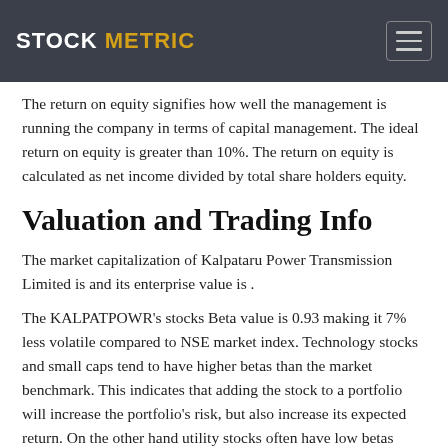STOCK METRIC
The return on equity signifies how well the management is running the company in terms of capital management. The ideal return on equity is greater than 10%. The return on equity is calculated as net income divided by total share holders equity.
Valuation and Trading Info
The market capitalization of Kalpataru Power Transmission Limited is and its enterprise value is .
The KALPATPOWR's stocks Beta value is 0.93 making it 7% less volatile compared to NSE market index. Technology stocks and small caps tend to have higher betas than the market benchmark. This indicates that adding the stock to a portfolio will increase the portfolio's risk, but also increase its expected return. On the other hand utility stocks often have low betas because they tend to move more slowly than market